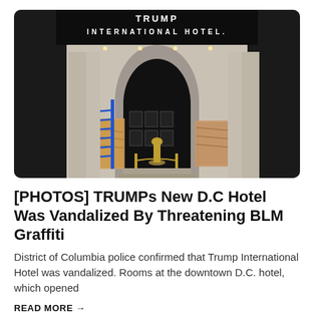[Figure (photo): Trump International Hotel entrance with black signage reading 'TRUMP INTERNATIONAL HOTEL', large arched doorways, plywood boards covering windows, a blue ladder leaning against the wall, and ornate gold fixtures at the entrance steps.]
[PHOTOS] TRUMPs New D.C Hotel Was Vandalized By Threatening BLM Graffiti
District of Columbia police confirmed that Trump International Hotel was vandalized. Rooms at the downtown D.C. hotel, which opened
READ MORE →